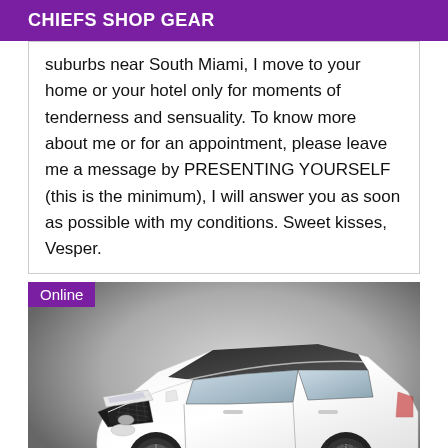CHIEFS SHOP GEAR
suburbs near South Miami, I move to your home or your hotel only for moments of tenderness and sensuality. To know more about me or for an appointment, please leave me a message by PRESENTING YOURSELF (this is the minimum), I will answer you as soon as possible with my conditions. Sweet kisses, Vesper.
[Figure (photo): A white Ford Fiesta hatchback car photographed in a studio setting against a grey gradient background. The car is shown from a front three-quarter angle. An 'Online' badge appears in the top-left corner of the image.]